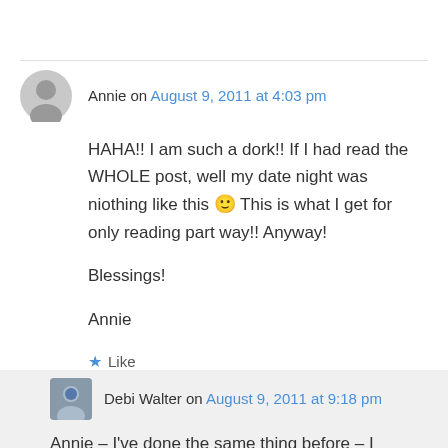Annie on August 9, 2011 at 4:03 pm
HAHA!! I am such a dork!! If I had read the WHOLE post, well my date night was niothing like this 🙂 This is what I get for only reading part way!! Anyway!

Blessings!

Annie
Like
Debi Walter on August 9, 2011 at 9:18 pm
Annie – I've done the same thing before – I